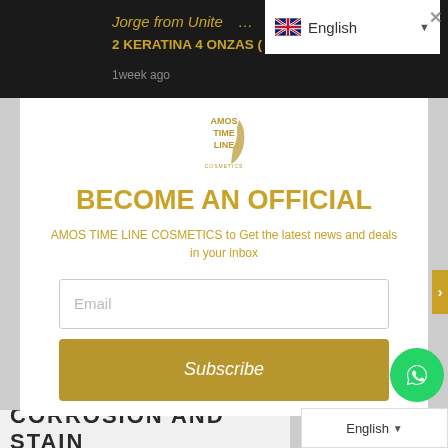Jorge from Unite... English ×
2 KERATINA 4 ONZAS ( 1 keratina con Acido...
1week ago
[Figure (logo): Amos Time Line Cosmetics logo]
BECOME AN OFFICIAL
AMOS TIME LINE COSMETICS to Get the latest news and deals in your inbox
Email
Subscribe
CORROSION AND STAIN